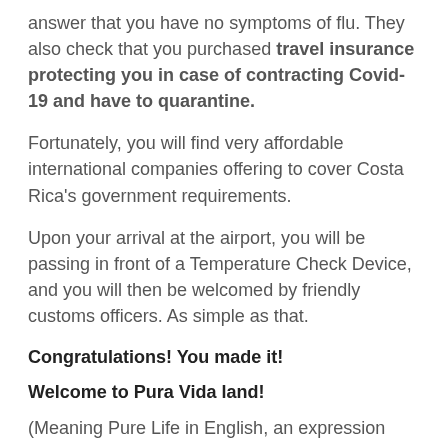answer that you have no symptoms of flu. They also check that you purchased travel insurance protecting you in case of contracting Covid-19 and have to quarantine.
Fortunately, you will find very affordable international companies offering to cover Costa Rica's government requirements.
Upon your arrival at the airport, you will be passing in front of a Temperature Check Device, and you will then be welcomed by friendly customs officers. As simple as that.
Congratulations! You made it!
Welcome to Pura Vida land!
(Meaning Pure Life in English, an expression that once you step out from the airport, you can expect to hear every 5 minutes.)
Ticos love this saying and use it to respond to the typical question "How are you today?" and more surprisingly, to